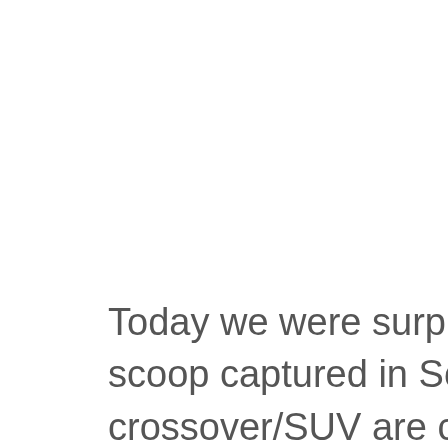Today we were surprised by a mysterious vehicle scoop captured in South Korea. This crossover/SUV are clearly a Hyundai Motor Group car, as you can see the typical warning message in rear window. We discarded Genesis JW EV as has not the Genesis design identity with the two lines or crest grille, and we also